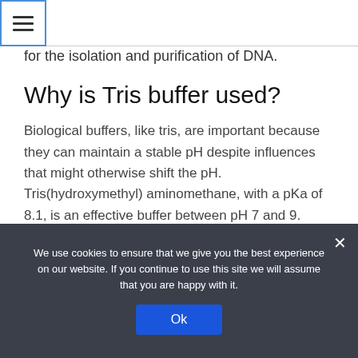☰ (hamburger menu icon)
for the isolation and purification of DNA.
Why is Tris buffer used?
Biological buffers, like tris, are important because they can maintain a stable pH despite influences that might otherwise shift the pH. Tris(hydroxymethyl) aminomethane, with a pKa of 8.1, is an effective buffer between pH 7 and 9. Because of its neutral range, tris is a commonly used buffer in biological labs.
We use cookies to ensure that we give you the best experience on our website. If you continue to use this site we will assume that you are happy with it.
Ok